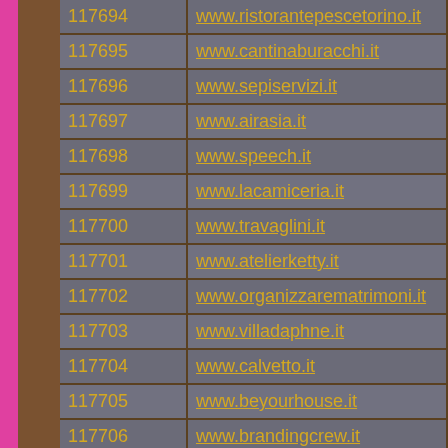| ID | URL |
| --- | --- |
| 117694 | www.ristorantepescetorino.it |
| 117695 | www.cantinaburacchi.it |
| 117696 | www.sepiservizi.it |
| 117697 | www.airasia.it |
| 117698 | www.speech.it |
| 117699 | www.lacamiceria.it |
| 117700 | www.travaglini.it |
| 117701 | www.atelierketty.it |
| 117702 | www.organizzarematrimoni.it |
| 117703 | www.villadaphne.it |
| 117704 | www.calvetto.it |
| 117705 | www.beyourhouse.it |
| 117706 | www.brandingcrew.it |
| 117707 | www.vacationstuscany.it |
| 117708 | www.monacoworld.it |
| 117709 | www.r... |